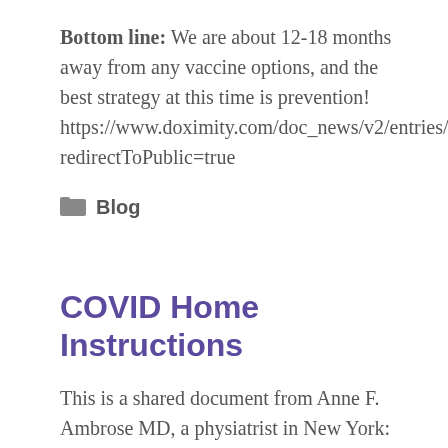Bottom line:  We are about 12-18 months away from any vaccine options, and the best strategy at this time is prevention! https://www.doximity.com/doc_news/v2/entries/26125985?redirectToPublic=true
Blog
COVID Home Instructions
This is a shared document from Anne F. Ambrose MD, a physiatrist in New York:   COVID home instructions-2-3